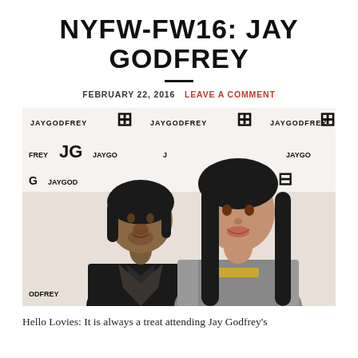NYFW-FW16: JAY GODFREY
FEBRUARY 22, 2016   LEAVE A COMMENT
[Figure (photo): Two people posing in front of a Jay Godfrey branded step-and-repeat backdrop. A man with dark hair wearing a black blazer with a patterned scarf, and a woman with long dark hair wearing a printed top.]
Hello Lovies: It is always a treat attending Jay Godfrey's